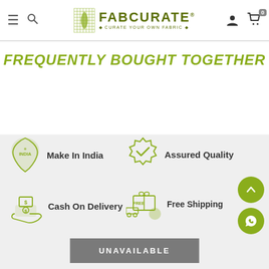FabCurate — Curate Your Own Fabric
FREQUENTLY BOUGHT TOGETHER
[Figure (infographic): Four feature icons with labels: Make In India (India map icon), Assured Quality (badge with checkmark icon), Cash On Delivery (hand with money icon), Free Shipping (truck with FREE box icon)]
UNAVAILABLE